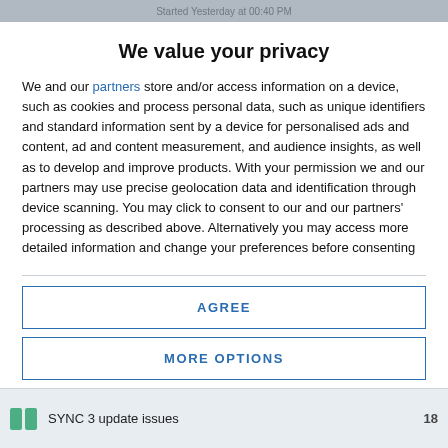Started Yesterday at 00:40 PM
We value your privacy
We and our partners store and/or access information on a device, such as cookies and process personal data, such as unique identifiers and standard information sent by a device for personalised ads and content, ad and content measurement, and audience insights, as well as to develop and improve products. With your permission we and our partners may use precise geolocation data and identification through device scanning. You may click to consent to our and our partners' processing as described above. Alternatively you may access more detailed information and change your preferences before consenting or to refuse consenting. Please note that some processing of your personal data may not require your consent, but you have a right to
AGREE
MORE OPTIONS
SYNC 3 update issues 18